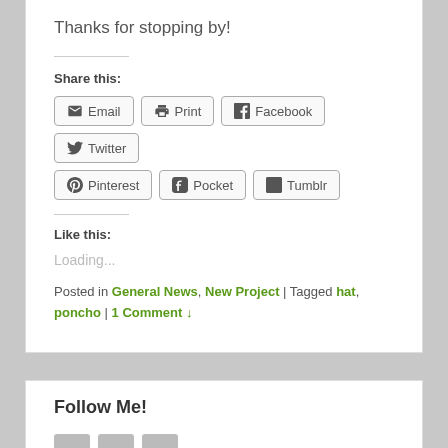Thanks for stopping by!
Share this:
Email | Print | Facebook | Twitter | Pinterest | Pocket | Tumblr
Like this:
Loading...
Posted in General News, New Project | Tagged hat, poncho | 1 Comment ↓
Follow Me!